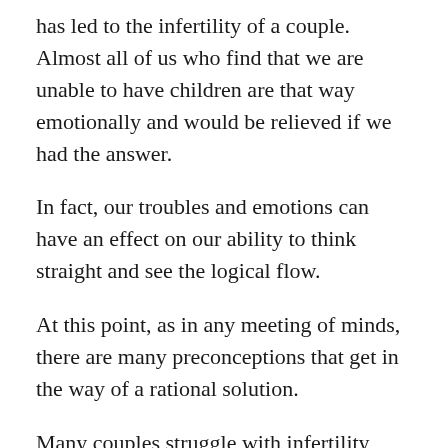has led to the infertility of a couple. Almost all of us who find that we are unable to have children are that way emotionally and would be relieved if we had the answer.
In fact, our troubles and emotions can have an effect on our ability to think straight and see the logical flow.
At this point, as in any meeting of minds, there are many preconceptions that get in the way of a rational solution.
Many couples struggle with infertility because of the embarrassment associated with the inability to naturally have children. People are inclined to avoid the subject as much as possible [???????????] and have